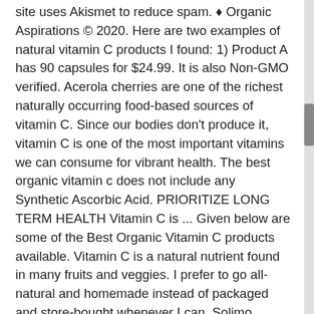site uses Akismet to reduce spam. ♦ Organic Aspirations © 2020. Here are two examples of natural vitamin C products I found: 1) Product A has 90 capsules for $24.99. It is also Non-GMO verified. Acerola cherries are one of the richest naturally occurring food-based sources of vitamin C. Since our bodies don't produce it, vitamin C is one of the most important vitamins we can consume for vibrant health. The best organic vitamin c does not include any Synthetic Ascorbic Acid. PRIORITIZE LONG TERM HEALTH Vitamin C is ... Given below are some of the Best Organic Vitamin C products available. Vitamin C is a natural nutrient found in many fruits and veggies. I prefer to go all-natural and homemade instead of packaged and store-bought whenever I can. Solimo Prenatal Vitamins & DHA: Check Price on Amazon: 2. It is made from Organic Wild berries including Camu Camu, Acerola & Amla. It is non-GMO, raw, and vegan. All Rights Reserved. Gain more antioxidant power! It is naturally present in some fruits and vegetables like Citrus fruits, Kiwi, Strawberries, Broccoli, and Raw bell peppers. Vitamin C and the rest of your body's nutrients...